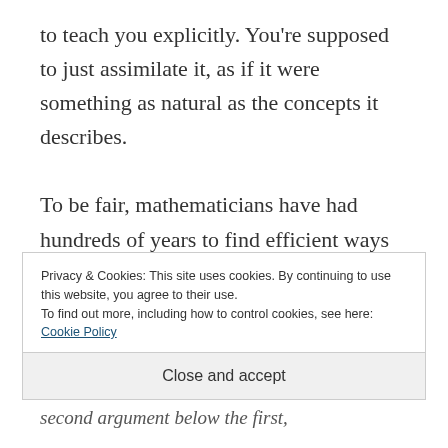to teach you explicitly. You're supposed to just assimilate it, as if it were something as natural as the concepts it describes.
To be fair, mathematicians have had hundreds of years to find efficient ways to write about the concepts they love. I mean, as much as we diss formulas in this blog, let's admit that 43 + 57 = 100
Privacy & Cookies: This site uses cookies. By continuing to use this website, you agree to their use.
To find out more, including how to control cookies, see here: Cookie Policy
Close and accept
second argument below the first,